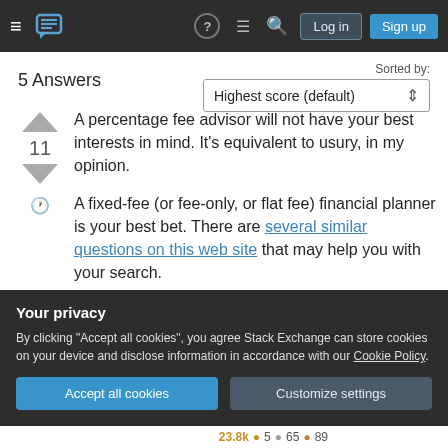Stack Exchange navigation bar with hamburger, logo, help, chat, search, Log in, Sign up
5 Answers
Sorted by: Highest score (default)
A percentage fee advisor will not have your best interests in mind. It's equivalent to usury, in my opinion.
A fixed-fee (or fee-only, or flat fee) financial planner is your best bet. There are several similar questions on this web site that may help you with your search.
Your privacy
By clicking "Accept all cookies", you agree Stack Exchange can store cookies on your device and disclose information in accordance with our Cookie Policy.
Accept all cookies  Customize settings
23.8k ● 5 ● 65 ● 89